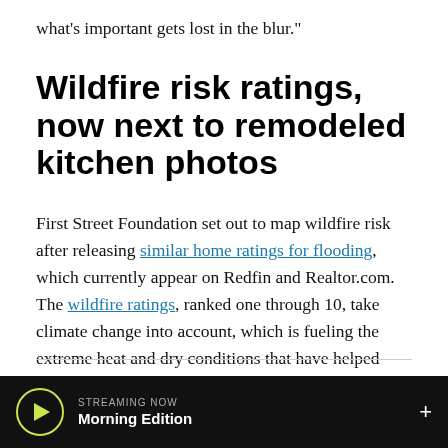what's important gets lost in the blur."
Wildfire risk ratings, now next to remodeled kitchen photos
First Street Foundation set out to map wildfire risk after releasing similar home ratings for flooding, which currently appear on Redfin and Realtor.com. The wildfire ratings, ranked one through 10, take climate change into account, which is fueling the extreme heat and dry conditions that have helped create record-breaking wildfires.
STREAMING NOW  Morning Edition